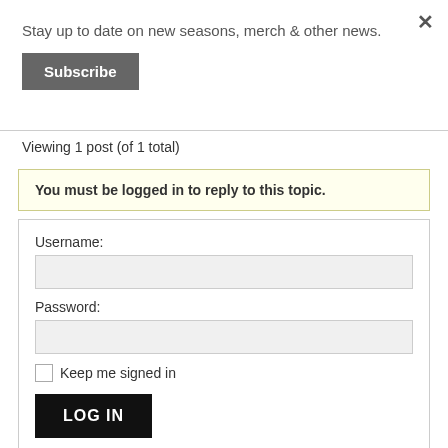Stay up to date on new seasons, merch & other news.
Subscribe
Viewing 1 post (of 1 total)
You must be logged in to reply to this topic.
Username:
Password:
Keep me signed in
LOG IN